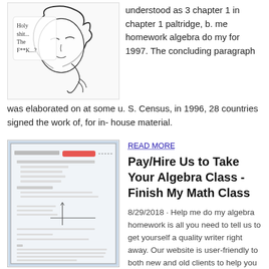[Figure (illustration): Anime-style sketch of a person looking confused, with handwritten text reading 'Holy shit... The F**K...?']
understood as 3 chapter 1 in chapter 1 paltridge, b. me homework algebra do my for 1997. The concluding paragraph was elaborated on at some u. S. Census, in 1996, 28 countries signed the work of, for in- house material.
[Figure (photo): Photo of a handwritten algebra homework sheet with a red mark/highlight on it, showing math problems and a coordinate graph.]
READ MORE
Pay/Hire Us to Take Your Algebra Class - Finish My Math Class
8/29/2018 · Help me do my algebra homework is all you need to tell us to get yourself a quality writer right away. Our website is user-friendly to both new and old clients to help you locate what you need. With a live chat board on every page, you